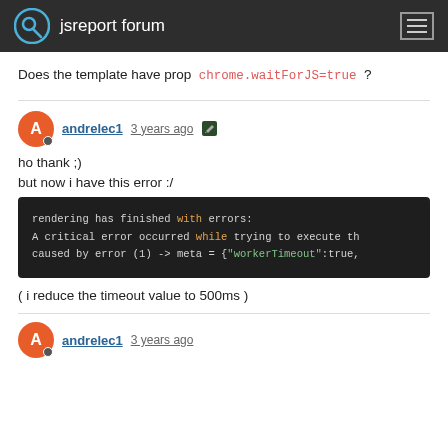jsreport forum
Does the template have prop chrome.waitForJS=true ?
andrelec1  3 years ago
ho thank ;)
but now i have this error :/
[Figure (screenshot): Dark terminal/code block showing error: rendering has finished with errors: A critical error occurred while trying to execute th caused by error (1) -> meta = {"workerTimeout":true,]
( i reduce the timeout value to 500ms )
andrelec1  3 years ago